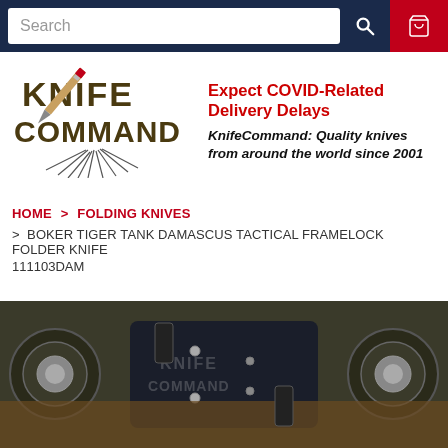Search [search icon] [cart icon]
[Figure (logo): Knife Command logo with knife/pencil graphic and spark marks]
Expect COVID-Related Delivery Delays
KnifeCommand: Quality knives from around the world since 2001
HOME > FOLDING KNIVES > BOKER TIGER TANK DAMASCUS TACTICAL FRAMELOCK FOLDER KNIFE 111103DAM
[Figure (photo): Product photo of Boker Tiger Tank Damascus Tactical Framelock Folder Knife showing the knife with carbon fiber handle and circular hardware, with Knife Command watermark overlay]